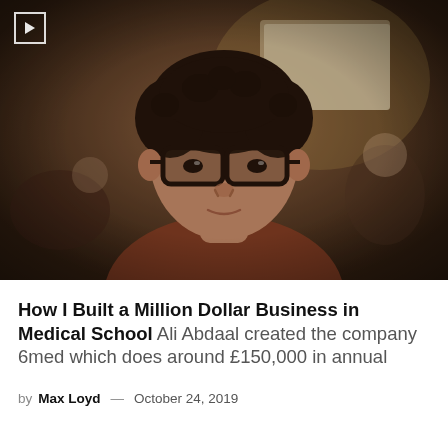[Figure (photo): A young man with curly dark hair and dark-framed glasses wearing a brown top, photographed in a blurred indoor setting. A video play button icon is visible in the top-left corner of the image.]
How I Built a Million Dollar Business in Medical School Ali Abdaal created the company 6med which does around £150,000 in annual
by Max Loyd — October 24, 2019